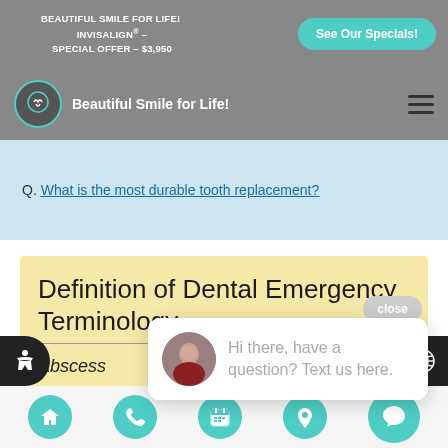BEAUTIFUL SMILE FOR LIFE! INVISALIGN® – SPECIAL OFFER – $3,950
[Figure (screenshot): See Our Specials! teal button]
[Figure (logo): Beautiful Smile for Life! logo with tooth icon circle]
Q. What is the most durable tooth replacement?
Definition of Dental Emergency Terminology
close
Hi there, have a question? Text us here.
Abscess
A dental absc... a pocket of pus that forms in the
Home | Phone | Calendar | Location | Chat